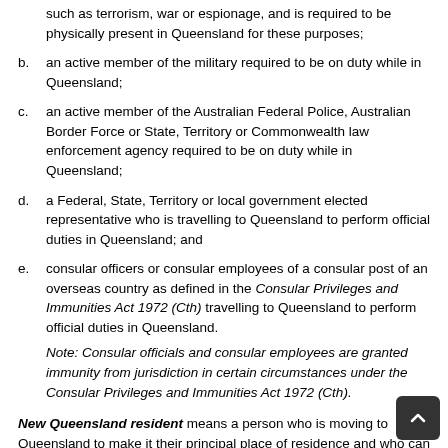such as terrorism, war or espionage, and is required to be physically present in Queensland for these purposes;
b. an active member of the military required to be on duty while in Queensland;
c. an active member of the Australian Federal Police, Australian Border Force or State, Territory or Commonwealth law enforcement agency required to be on duty while in Queensland;
d. a Federal, State, Territory or local government elected representative who is travelling to Queensland to perform official duties in Queensland; and
e. consular officers or consular employees of a consular post of an overseas country as defined in the Consular Privileges and Immunities Act 1972 (Cth) travelling to Queensland to perform official duties in Queensland.
Note: Consular officials and consular employees are granted immunity from jurisdiction in certain circumstances under the Consular Privileges and Immunities Act 1972 (Cth).
New Queensland resident means a person who is moving to Queensland to make it their principal place of residence and who can provide written evidence that they are relocating to Queensland if required by an